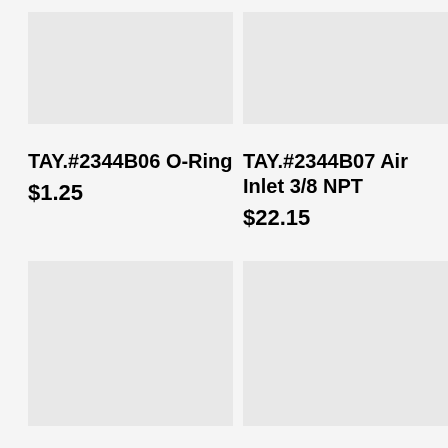[Figure (photo): Product image placeholder for TAY.#2344B06 O-Ring, light gray background]
[Figure (photo): Product image placeholder for TAY.#2344B07 Air Inlet 3/8 NPT, light gray background]
TAY.#2344B06 O-Ring
$1.25
TAY.#2344B07 Air Inlet 3/8 NPT
$22.15
[Figure (photo): Product image placeholder, light gray background, bottom left]
[Figure (photo): Product image placeholder, light gray background, bottom right]